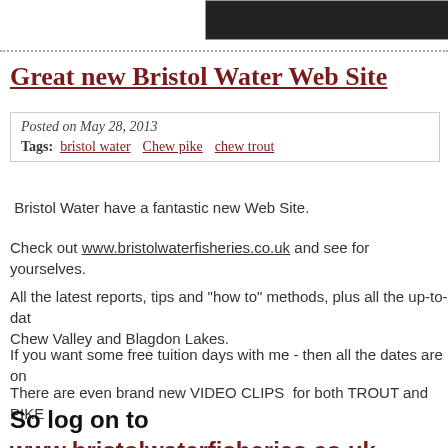[Figure (photo): Dark image strip at top right of page]
Great new Bristol Water Web Site
Posted on May 28, 2013
Tags: bristol water   Chew pike   chew trout
Bristol Water have a fantastic new Web Site.
Check out www.bristolwaterfisheries.co.uk and see for yourselves.
All the latest reports, tips and "how to" methods, plus all the up-to-dat... Chew Valley and Blagdon Lakes.
If you want some free tuition days with me - then all the dates are on
There are even brand new VIDEO CLIPS  for both TROUT and PIKE
So log on to www.bristolwaterfisheries.co.uk these new features.